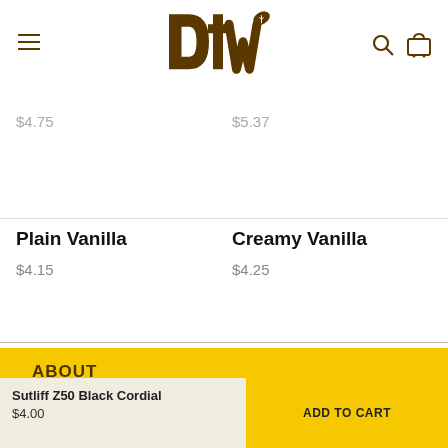DTW - Drew's Tobacco World navigation header with hamburger menu, logo, search and cart icons
$4.75
$5.37
Plain Vanilla
$4.15
Creamy Vanilla
$4.25
ABOUT
rew's Tobacco World is a full spectrum tobacco shop, catering to nearly all smokers, with our traditional and contemporary
Sutliff Z50 Black Cordial
$4.00
ADD TO CART